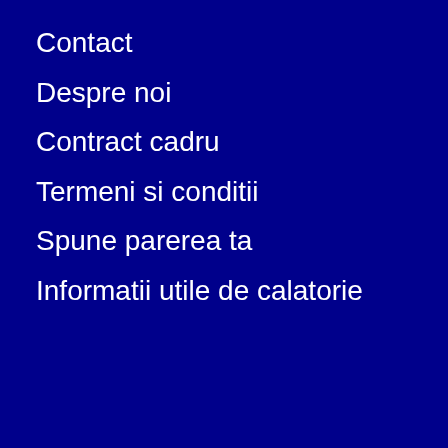Contact
Despre noi
Contract cadru
Termeni si conditii
Spune parerea ta
Informatii utile de calatorie
Politica Cookie
Pentru a se putea accesa website-ul sunt folosite fisiere de tip Cookie. Dorim sa va informam ce astfel de fisiere sunt stocate in website-ul Dvs.
Puteti schimba setarile browserului in orice moment. Limitarile in utilizarea fisierelor Cookies pot afecta functionarea corecta a website-ului.
Sunt de acord
Dissallow cookies